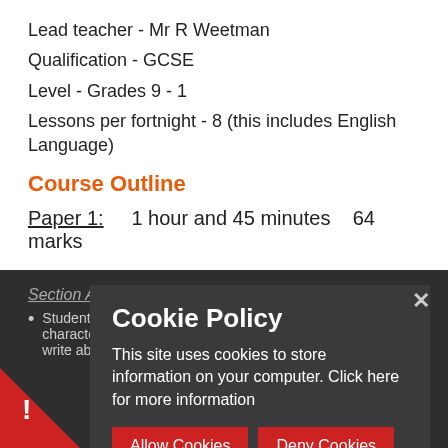Lead teacher - Mr R Weetman
Qualification  - GCSE
Level - Grades 9 - 1
Lessons per fortnight - 8 (this includes English Language)
Course Outline
Paper 1:    1 hour and 45 minutes    64 marks
Section A:  Shakespeare:
Students will answer one question on their chosen character/theme/motif in detail allowing them the option to write about a playwright's methods.
[Figure (screenshot): Cookie policy overlay popup with title 'Cookie Policy', body text about cookies, and two buttons: 'Allow Cookies' and 'Deny Cookies', with a close X button]